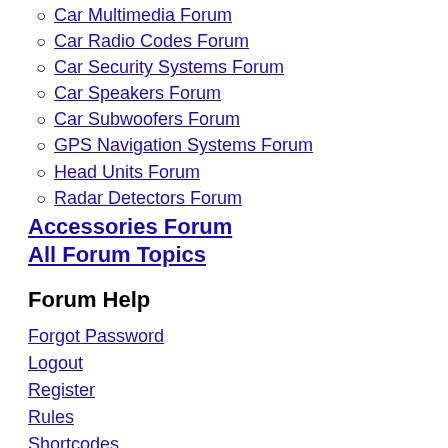Car Multimedia Forum
Car Radio Codes Forum
Car Security Systems Forum
Car Speakers Forum
Car Subwoofers Forum
GPS Navigation Systems Forum
Head Units Forum
Radar Detectors Forum
Accessories Forum
All Forum Topics
Forum Help
Forgot Password
Logout
Register
Rules
Shortcodes
Troubleshooting
Announcements
Your Account
Follow Us